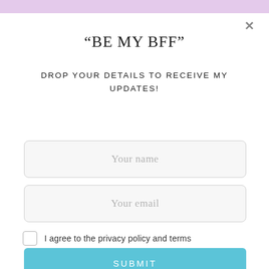[Figure (screenshot): Light purple top decorative bar across the top of the modal popup]
“BE MY BFF”
DROP YOUR DETAILS TO RECEIVE MY UPDATES!
[Figure (screenshot): Input field with placeholder text 'Your name']
[Figure (screenshot): Input field with placeholder text 'Your email']
I agree to the privacy policy and terms
SUBMIT